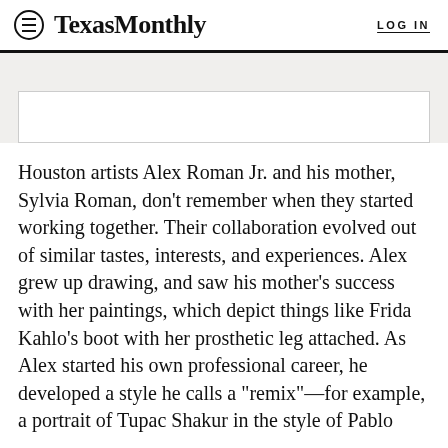TexasMonthly  LOG IN
[Figure (other): Gray banner area with white advertisement placeholder box]
Houston artists Alex Roman Jr. and his mother, Sylvia Roman, don’t remember when they started working together. Their collaboration evolved out of similar tastes, interests, and experiences. Alex grew up drawing, and saw his mother’s success with her paintings, which depict things like Frida Kahlo’s boot with her prosthetic leg attached. As Alex started his own professional career, he developed a style he calls a “remix”—for example, a portrait of Tupac Shakur in the style of Pablo